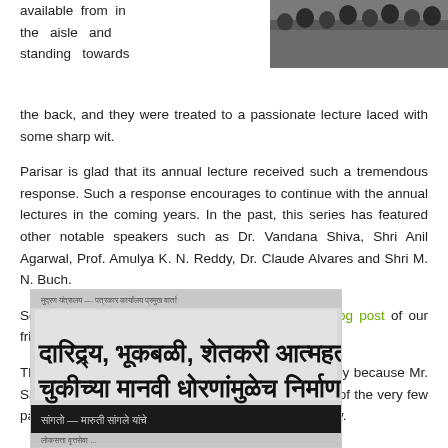available from in the aisle and standing towards the back, and they were treated to a passionate lecture laced with some sharp wit.
[Figure (photo): Audience seated in a hall, viewed from behind, attending a lecture]
Parisar is glad that its annual lecture received such a tremendous response. Such a response encourages to continue with the annual lectures in the coming years. In the past, this series has featured other notable speakers such as Dr. Vandana Shiva, Shri Anil Agarwal, Prof. Amulya K. N. Reddy, Dr. Claude Alvares and Shri M. N. Buch.
Some notes on the lecture are available on this blog post of our friend Abhay Patil.
The event received limited media coverage, ostensibly because Mr. Sainath is from a rival publication! Loksatta was one of the very few papers to cover the event and its report is given below.
[Figure (photo): Marathi newspaper clipping with headline in Devanagari script about poverty, famines, and farmer suicides caused by wrong human policies]